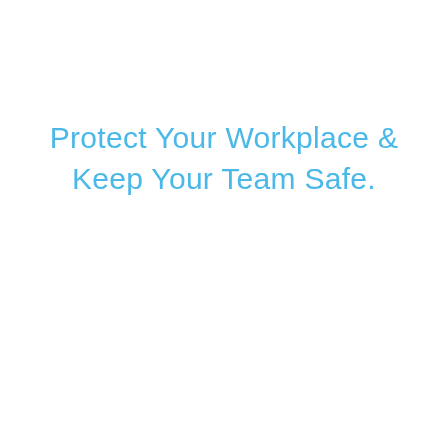Protect Your Workplace & Keep Your Team Safe.